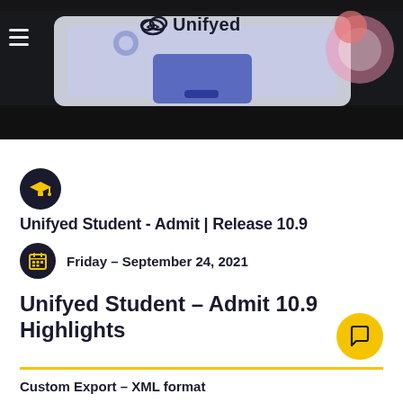[Figure (illustration): Header banner with dark background showing Unifyed logo and decorative tech/education illustration with laptop, gears, and icons]
[Figure (logo): Unifyed cloud logo with text 'Unifyed']
Unifyed Student - Admit | Release 10.9
Friday - September 24, 2021
Unifyed Student – Admit 10.9 Highlights
Custom Export – XML format